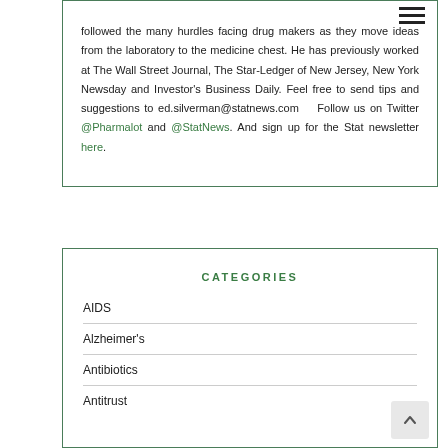followed the many hurdles facing drug makers as they move ideas from the laboratory to the medicine chest. He has previously worked at The Wall Street Journal, The Star-Ledger of New Jersey, New York Newsday and Investor's Business Daily. Feel free to send tips and suggestions to ed.silverman@statnews.com  Follow us on Twitter @Pharmalot and @StatNews. And sign up for the Stat newsletter here.
CATEGORIES
AIDS
Alzheimer's
Antibiotics
Antitrust